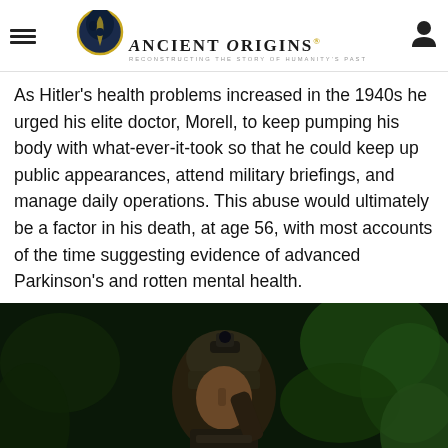Ancient Origins — Reconstructing the story of humanity's past
As Hitler's health problems increased in the 1940s he urged his elite doctor, Morell, to keep pumping his body with what-ever-it-took so that he could keep up public appearances, attend military briefings, and manage daily operations. This abuse would ultimately be a factor in his death, at age 56, with most accounts of the time suggesting evidence of advanced Parkinson's and rotten mental health.
[Figure (photo): Military soldier wearing tactical helmet with night vision equipment, raising finger to lips in a silencing gesture, surrounded by dark green foliage background]
[Pics] 3-Foot Wide House Sells For $260K, This Is What It Looks Like Inside!
BuzzFond
[Figure (photo): Continuation of soldier photo — lower portion showing soldier with tactical gear]